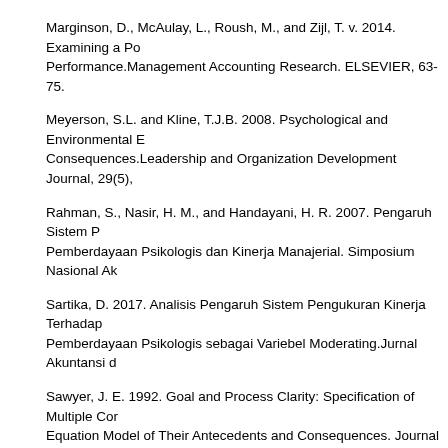Marginson, D., McAulay, L., Roush, M., and Zijl, T. v. 2014. Examining a Po Performance.Management Accounting Research. ELSEVIER, 63-75.
Meyerson, S.L. and Kline, T.J.B. 2008. Psychological and Environmental E Consequences.Leadership and Organization Development Journal, 29(5),
Rahman, S., Nasir, H. M., and Handayani, H. R. 2007. Pengaruh Sistem P Pemberdayaan Psikologis dan Kinerja Manajerial. Simposium Nasional Ak
Sartika, D. 2017. Analisis Pengaruh Sistem Pengukuran Kinerja Terhadap Pemberdayaan Psikologis sebagai Variebel Moderating.Jurnal Akuntansi d
Sawyer, J. E. 1992. Goal and Process Clarity: Specification of Multiple Cor Equation Model of Their Antecedents and Consequences. Journal of Applie
Seputra, Y. E. 2014. Manajemen dan Perilaku Organisasi. Yogyakarta: Gra
Spreitzer, G. M. 1995. Psychological Empowerment In The Workplace: Din Academy of Management Journal 38, 1442-1465.
Spreitzer, G. M. 1996. Social Structural Characteristics of Psychological Em Journal 39 (2), 483-504. S
preitzer, G. M., Kizilos, M. A.,and Nason, S. W. 1997. A Dimensional Analys Empowerment and Effectiveness, Satisfaction, and Strain.Journal of Mana
Thomas, K. W., andVelthouse, B. A. 1990. Cognitive Elements of Empower Motivation. Academy of Management Review 15, 666-681.